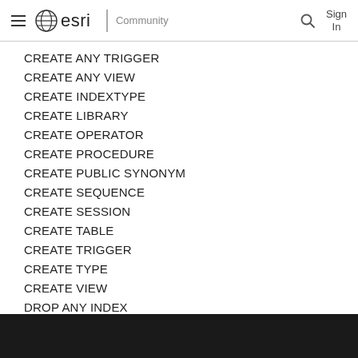≡ esri | Community   🔍  Sign In
CREATE ANY TRIGGER
CREATE ANY VIEW
CREATE INDEXTYPE
CREATE LIBRARY
CREATE OPERATOR
CREATE PROCEDURE
CREATE PUBLIC SYNONYM
CREATE SEQUENCE
CREATE SESSION
CREATE TABLE
CREATE TRIGGER
CREATE TYPE
CREATE VIEW
DROP ANY INDEX
DROP ANY VIEW
DROP PUBLIC SYNONYM